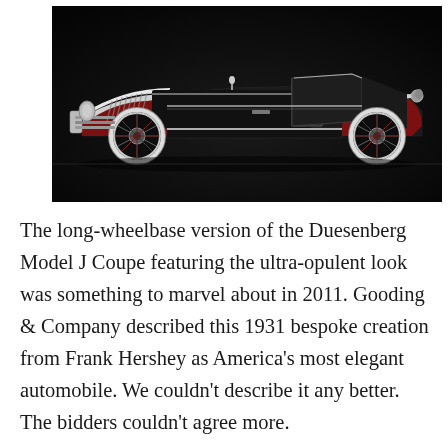[Figure (photo): Side profile photograph of a 1931 Duesenberg Model J Coupe against a dark background. The classic car features a long black body with red and chrome accents, white-wall tires with spoke wheels, and an ornate Art Deco design.]
The long-wheelbase version of the Duesenberg Model J Coupe featuring the ultra-opulent look was something to marvel about in 2011. Gooding & Company described this 1931 bespoke creation from Frank Hershey as America's most elegant automobile. We couldn't describe it any better. The bidders couldn't agree more.